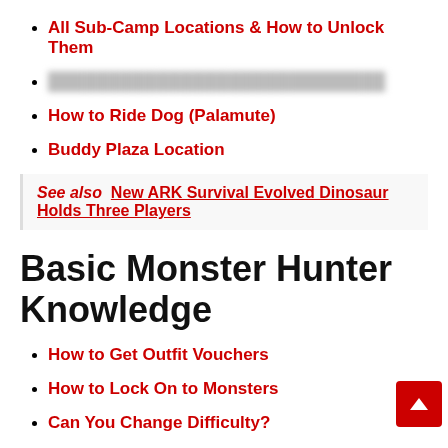All Sub-Camp Locations & How to Unlock Them
[blurred/redacted link]
How to Ride Dog (Palamute)
Buddy Plaza Location
See also  New ARK Survival Evolved Dinosaur Holds Three Players
Basic Monster Hunter Knowledge
How to Get Outfit Vouchers
How to Lock On to Monsters
Can You Change Difficulty?